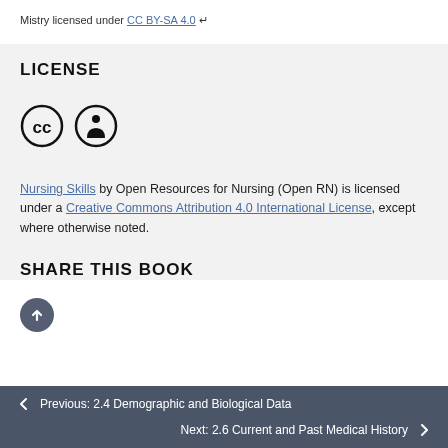Mistry licensed under CC BY-SA 4.0 ↵
LICENSE
[Figure (illustration): Creative Commons license icons: CC circle logo and Attribution (person) circle logo]
Nursing Skills by Open Resources for Nursing (Open RN) is licensed under a Creative Commons Attribution 4.0 International License, except where otherwise noted.
SHARE THIS BOOK
← Previous: 2.4 Demographic and Biological Data   Next: 2.6 Current and Past Medical History →